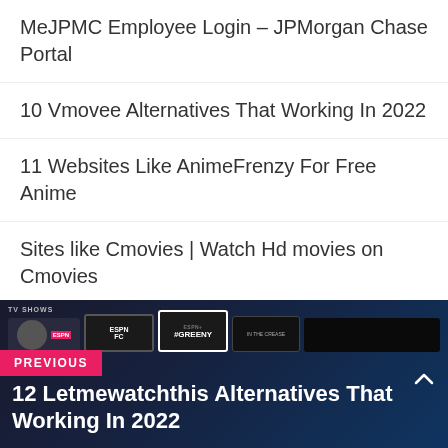MeJPMC Employee Login – JPMorgan Chase Portal
10 Vmovee Alternatives That Working In 2022
11 Websites Like AnimeFrenzy For Free Anime
Sites like Cmovies | Watch Hd movies on Cmovies
[Figure (screenshot): Bottom banner showing ESPN streaming interface with PREVIOUS navigation label and title '12 Letmewatchthis Alternatives That Working In 2022']